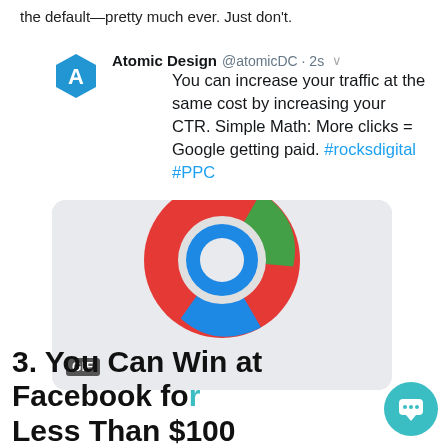the default—pretty much ever. Just don't.
[Figure (screenshot): A tweet from @atomicDC (Atomic Design) saying: You can increase your traffic at the same cost by increasing your CTR. Simple Math: More clicks = Google getting paid. #rocksdigital #PPC. Below the tweet text is an embedded GIF image showing the Google Chrome logo with a chat popup overlay saying 'Hi. Have some questions? How can we help you today?']
3. You Can Win at Facebook for Less Than $100